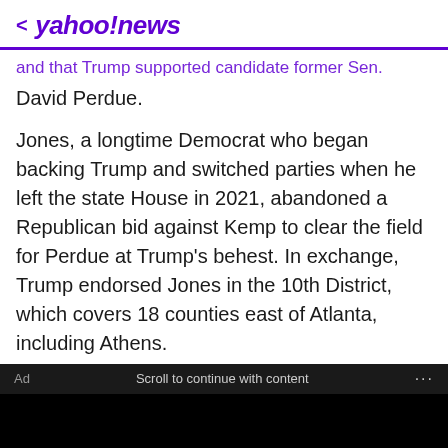< yahoo!news
and that Trump supported candidate former Sen. David Perdue.
Jones, a longtime Democrat who began backing Trump and switched parties when he left the state House in 2021, abandoned a Republican bid against Kemp to clear the field for Perdue at Trump's behest. In exchange, Trump endorsed Jones in the 10th District, which covers 18 counties east of Atlanta, including Athens.
Ad   Scroll to continue with content   ...
Gundry MD Total Restore
If You Eat Oatmeal Every Day, This Is What